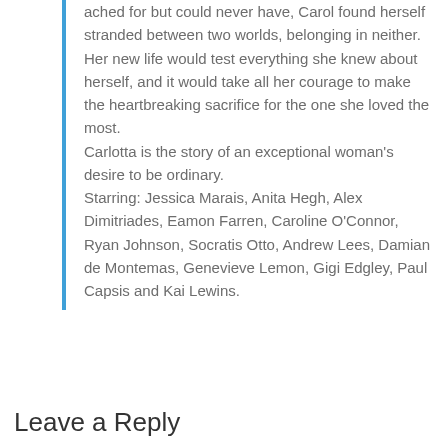ached for but could never have, Carol found herself stranded between two worlds, belonging in neither. Her new life would test everything she knew about herself, and it would take all her courage to make the heartbreaking sacrifice for the one she loved the most.
Carlotta is the story of an exceptional woman's desire to be ordinary.
Starring: Jessica Marais, Anita Hegh, Alex Dimitriades, Eamon Farren, Caroline O'Connor, Ryan Johnson, Socratis Otto, Andrew Lees, Damian de Montemas, Genevieve Lemon, Gigi Edgley, Paul Capsis and Kai Lewins.
Leave a Reply